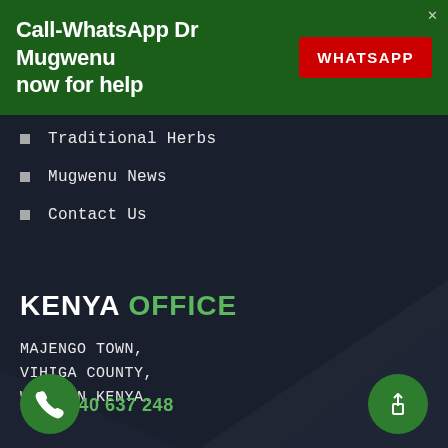Call-WhatsApp Dr Mugwenu now for help
WHATSAPP
Traditional Herbs
Mugwenu News
Contact Us
KENYA OFFICE
MAJENGO TOWN,
VIHIGA COUNTY,
WESTERN KENYA.
+255 740 637 248